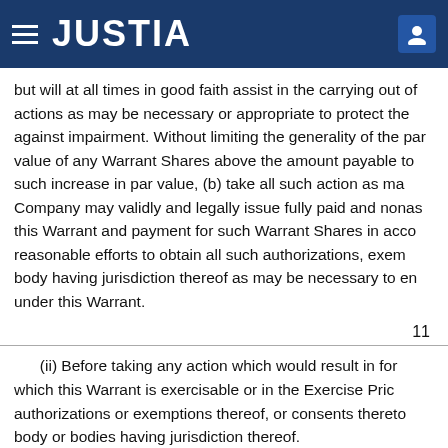JUSTIA
but will at all times in good faith assist in the carrying out of actions as may be necessary or appropriate to protect the against impairment. Without limiting the generality of the par value of any Warrant Shares above the amount payable to such increase in par value, (b) take all such action as ma Company may validly and legally issue fully paid and nonas this Warrant and payment for such Warrant Shares in acco reasonable efforts to obtain all such authorizations, exem body having jurisdiction thereof as may be necessary to en under this Warrant.
11
(ii) Before taking any action which would result in for which this Warrant is exercisable or in the Exercise Pric authorizations or exemptions thereof, or consents thereto body or bodies having jurisdiction thereof.